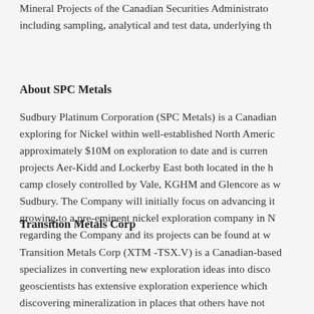Mineral Projects of the Canadian Securities Administrators including sampling, analytical and test data, underlying th...
About SPC Metals
Sudbury Platinum Corporation (SPC Metals) is a Canadian exploring for Nickel within well-established North Americ approximately $10M on exploration to date and is curren projects Aer-Kidd and Lockerby East both located in the h camp closely controlled by Vale, KGHM and Glencore as w Sudbury. The Company will initially focus on advancing it growing to a pre-eminent nickel exploration company in N regarding the Company and its projects can be found at w...
Transition Metals Corp
Transition Metals Corp (XTM -TSX.V) is a Canadian-based specializes in converting new exploration ideas into disco geoscientists has extensive exploration experience which discovering mineralization in places that others have not properties inexpensively. Joint venture partners earn...